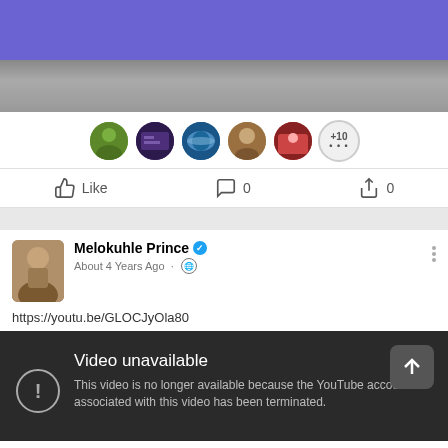[Figure (screenshot): Purple header bar of a social media app]
[Figure (photo): Video thumbnail - dark gray gradient bar]
[Figure (screenshot): Row of 5 reaction avatar circles and a +10 more indicator]
[Figure (screenshot): Action bar with Like, comment count 0, share count 0]
[Figure (screenshot): Facebook post by Melokuhle Prince with verified badge, About 4 Years Ago, globe icon, link https://youtu.be/GLOCJyOla80 and YouTube unavailable error card: Video unavailable - This video is no longer available because the YouTube account associated with this video has been terminated.]